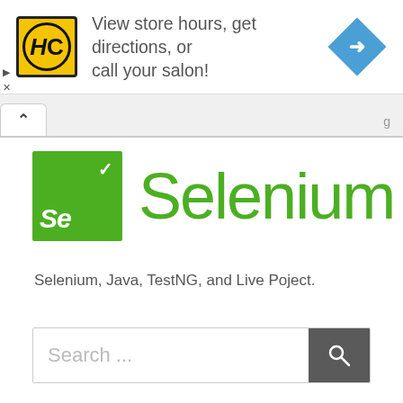[Figure (screenshot): Advertisement banner with HC logo (yellow square with black HC text), text 'View store hours, get directions, or call your salon!' and a blue diamond navigation icon on the right. Small play and X controls on left edge.]
[Figure (screenshot): Browser tab bar with an up-chevron tab on the left and partial text on the right edge]
[Figure (logo): Selenium logo: green square with white checkmark and 'Se' text, followed by green 'Selenium' wordmark]
Selenium, Java, TestNG, and Live Poject.
[Figure (screenshot): Search bar with placeholder text 'Search ...' and a dark gray search button with magnifying glass icon]